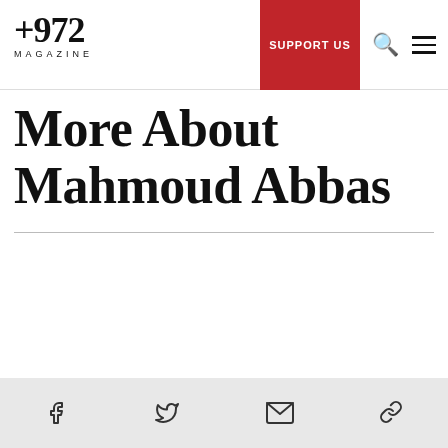+972 MAGAZINE | SUPPORT US
More About Mahmoud Abbas
Social share icons: Facebook, Twitter, Email, Link